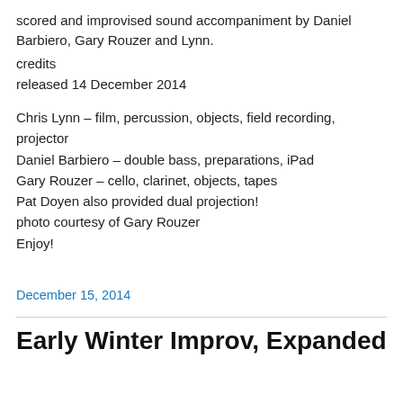scored and improvised sound accompaniment by Daniel Barbiero, Gary Rouzer and Lynn.
credits
released 14 December 2014
Chris Lynn – film, percussion, objects, field recording, projector
Daniel Barbiero – double bass, preparations, iPad
Gary Rouzer – cello, clarinet, objects, tapes
Pat Doyen also provided dual projection!
photo courtesy of Gary Rouzer
Enjoy!
December 15, 2014
Early Winter Improv, Expanded